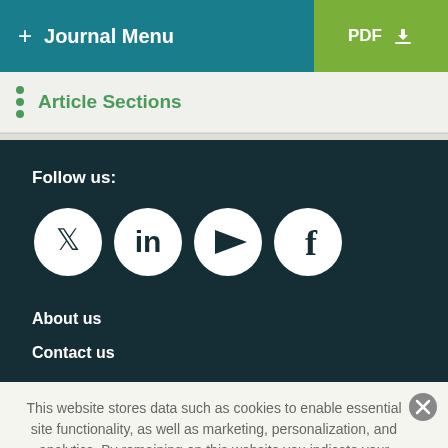+ Journal Menu | PDF ↓
Article Sections
Follow us:
[Figure (infographic): Four social media icons in white circles on dark background: Twitter, LinkedIn, YouTube, Facebook]
About us
Contact us
This website stores data such as cookies to enable essential site functionality, as well as marketing, personalization, and analytics. By remaining on this website you indicate your consent. Cookie Policy